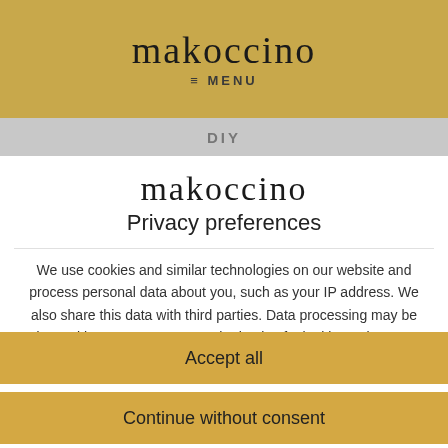[Figure (logo): makoccino script logo on gold header background with MENU label]
DIY
[Figure (logo): makoccino script logo on white modal background]
Privacy preferences
We use cookies and similar technologies on our website and process personal data about you, such as your IP address. We also share this data with third parties. Data processing may be done with your consent or on the basis of a legitimate interest, which
Accept all
Continue without consent